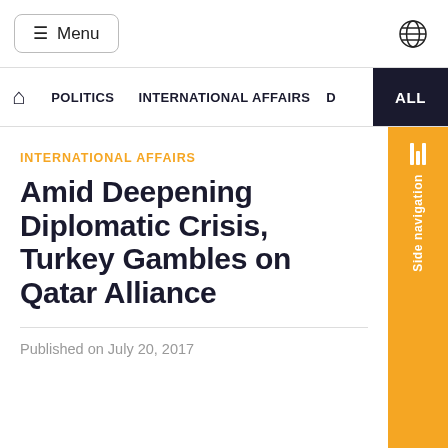Menu | [globe icon]
POLITICS  INTERNATIONAL AFFAIRS  D  ALL
INTERNATIONAL AFFAIRS
Amid Deepening Diplomatic Crisis, Turkey Gambles on Qatar Alliance
Published on July 20, 2017